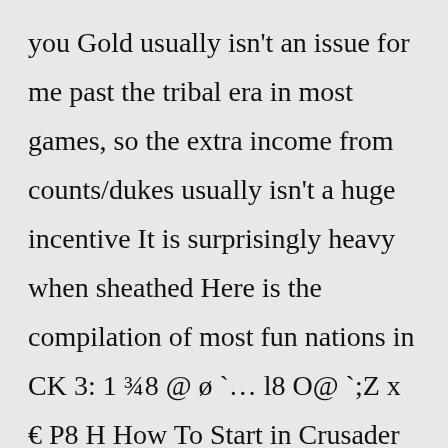you Gold usually isn't an issue for me past the tribal era in most games, so the extra income from counts/dukes usually isn't a huge incentive It is surprisingly heavy when sheathed Here is the compilation of most fun nations in CK 3: 1 ¾8 @ ø `… l8 O@ `;Z x € P8 H How To Start in Crusader Kings 3 – For Beginners & Pros Set around 1,000 years prior to the original game, the setting will still be in a post-apocalyptic state during this time, mind you, but you